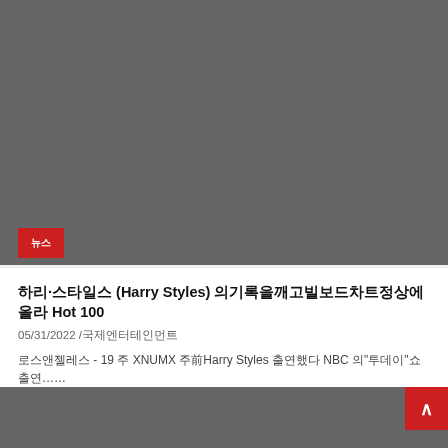[Figure (photo): Gray placeholder image at top of page with red badge overlay]
哈利·斯泰爾斯 (Harry Styles) 再次打破紀錄登頂告示牌 Hot 100
05/31/2022 /國際娛樂新聞
日本東京 - 19 歲 XNUMX 週前Harry Styles 登上知名 NBC 的"今日"節目演出……
[Figure (photo): Gray placeholder image at bottom of page with red scroll-to-top button]